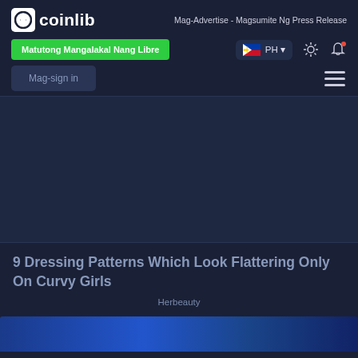coinlib — Mag-Advertise - Magsumite Ng Press Release
Matutong Mangalakal Nang Libre
PH
Mag-sign in
[Figure (screenshot): Dark advertisement area]
9 Dressing Patterns Which Look Flattering Only On Curvy Girls
Herbeauty
[Figure (photo): Partial thumbnail image at bottom in blue tones]